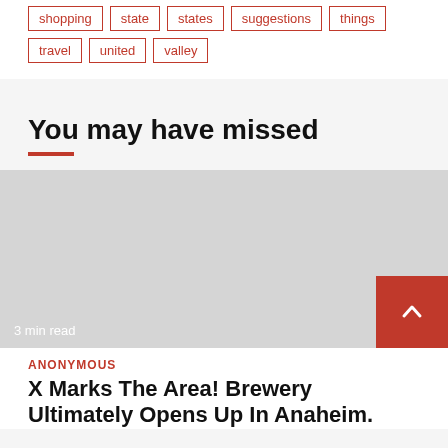shopping
state
states
suggestions
things
travel
united
valley
You may have missed
[Figure (photo): Gray placeholder image for article thumbnail with '3 min read' text overlay]
ANONYMOUS
X Marks The Area! Brewery Ultimately Opens Up In Anaheim.